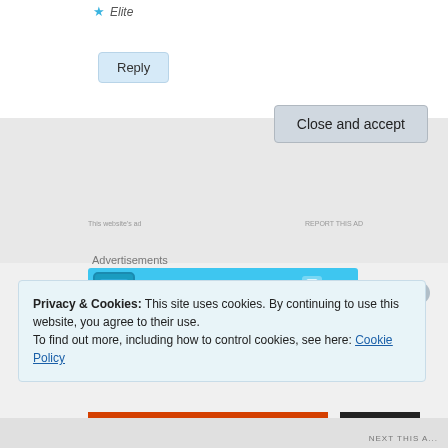Elite
Reply
Advertisements
[Figure (illustration): Day One app advertisement banner: blue background with phone graphic on left, text 'Your Journal for life', and DayOne logo on right]
Privacy & Cookies: This site uses cookies. By continuing to use this website, you agree to their use.
To find out more, including how to control cookies, see here: Cookie Policy
Close and accept